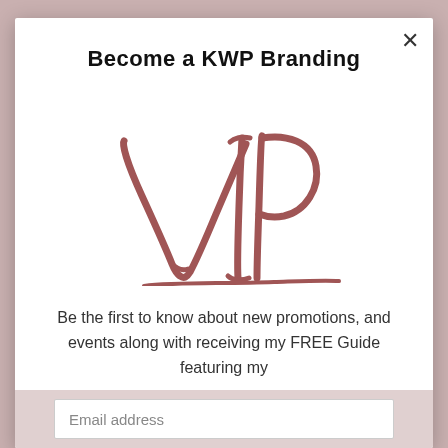Become a KWP Branding
[Figure (illustration): Handwritten-style cursive text reading 'VIP' in a dusty rose/mauve color, large and stylized]
Be the first to know about new promotions, and events along with receiving my FREE Guide featuring my
" Top 10 tips for looking confident in camera"
Email address